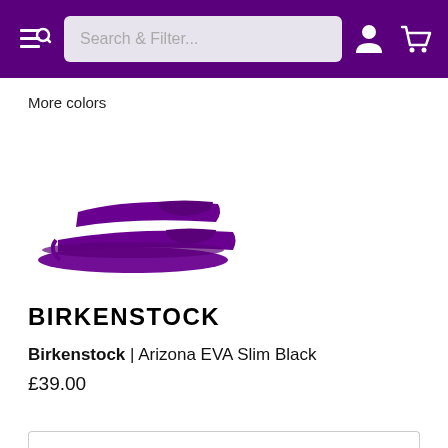Search & Filter...
More colors
[Figure (photo): Purple Birkenstock Arizona EVA Slim sandal shown at an angle on white background]
BIRKENSTOCK
Birkenstock | Arizona EVA Slim Black
£39.00